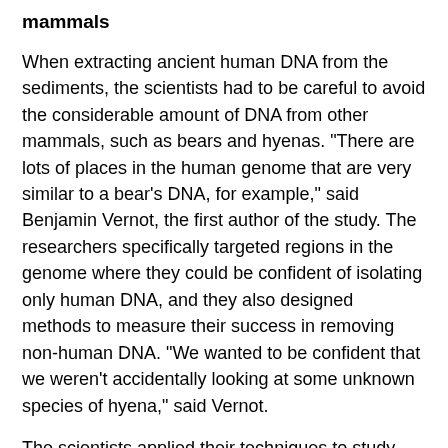mammals
When extracting ancient human DNA from the sediments, the scientists had to be careful to avoid the considerable amount of DNA from other mammals, such as bears and hyenas. "There are lots of places in the human genome that are very similar to a bear's DNA, for example," said Benjamin Vernot, the first author of the study. The researchers specifically targeted regions in the genome where they could be confident of isolating only human DNA, and they also designed methods to measure their success in removing non-human DNA. "We wanted to be confident that we weren't accidentally looking at some unknown species of hyena," said Vernot.
The scientists applied their techniques to study more than 150 sediment samples from three caves. At two of these -- Chagyrskaya and Denisova Caves in the Altai Mountains of southern Siberia -- previous studies had analyzed DNA from bones. So the authors were able to compare the DNA from sediments to the DNA from bones. "The techniques we developed are very new, and we wanted to be able to test them